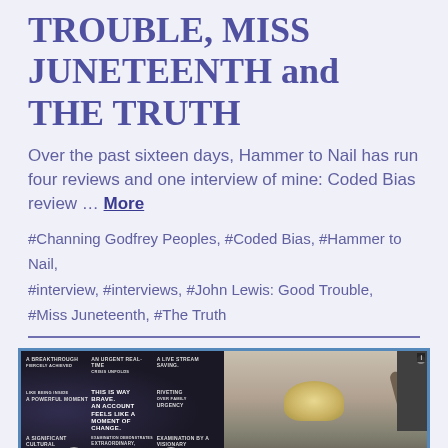TROUBLE, MISS JUNETEENTH and THE TRUTH
Over the past sixteen days, Hammer to Nail has run four reviews and one interview of mine: Coded Bias review … More
#Channing Godfrey Peoples, #Coded Bias, #Hammer to Nail, #interview, #interviews, #John Lewis: Good Trouble, #Miss Juneteenth, #The Truth
[Figure (photo): Two-panel image: left panel shows a movie poster with blurbs including 'BREAKTHROUGH', 'A LIVE STREAM SAVING', 'THIS IS WAY BRAVE AN ACCOUNT FEELS LIKE A MOMENT OF CHANGE', 'A SIGNIFICANT CULTURAL STATEMENT OF SHATTERING TRUTH', 'EXAMINATION BY A VISIONARY FILMMAKER IT SPEAKS VOLUMES' with figures in the background; right panel shows a woman with blonde hair reaching up in what appears to be a kitchen or workshop setting]